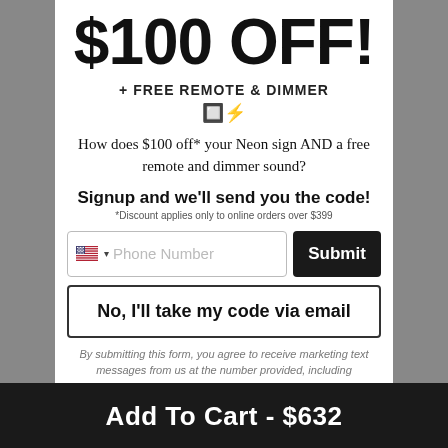$100 OFF!
+ FREE REMOTE & DIMMER
How does $100 off* your Neon sign AND a free remote and dimmer sound?
Signup and we'll send you the code!
*Discount applies only to online orders over $399
No, I'll take my code via email
By submitting this form, you agree to receive marketing text messages from us at the number provided, including messages sent by autodialer. Consent is not a condition of purchase.
Add To Cart - $632